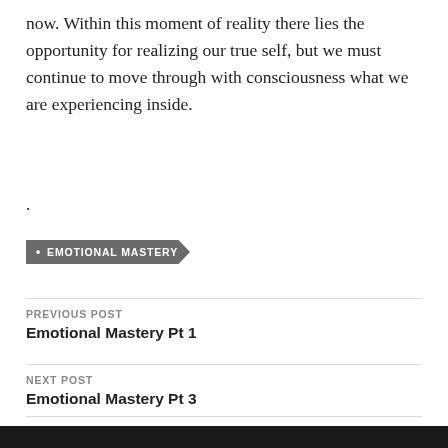now. Within this moment of reality there lies the opportunity for realizing our true self, but we must continue to move through with consciousness what we are experiencing inside.
.
EMOTIONAL MASTERY
PREVIOUS POST
Emotional Mastery Pt 1
NEXT POST
Emotional Mastery Pt 3